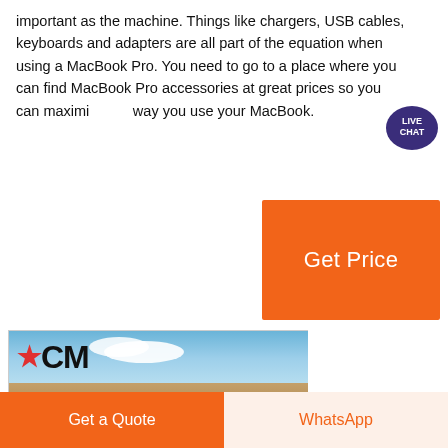important as the machine. Things like chargers, USB cables, keyboards and adapters are all part of the equation when using a MacBook Pro. You need to go to a place where you can find MacBook Pro accessories at great prices so you can maximise the way you use your MacBook.
[Figure (other): Live Chat speech bubble badge with dark blue/purple color and white text reading LIVE CHAT]
[Figure (other): Orange 'Get Price' button]
[Figure (photo): CCM branded photo showing heavy mining/quarrying machinery (green) with a large cylindrical roll in an open quarry, blue sky with clouds in the background. CCM logo in top left with a red star replacing the first C.]
[Figure (other): Bottom bar with two buttons: orange 'Get a Quote' button on left and light orange 'WhatsApp' button on right]